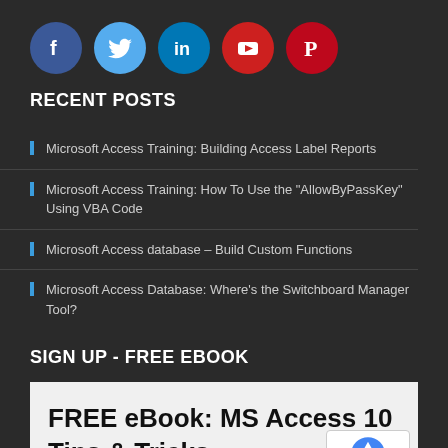[Figure (illustration): Social media icons row: Facebook (blue circle), Twitter (light blue circle), LinkedIn (blue circle), YouTube (red circle), Pinterest (red circle)]
RECENT POSTS
Microsoft Access Training: Building Access Label Reports
Microsoft Access Training: How To Use the "AllowByPassKey" Using VBA Code
Microsoft Access database – Build Custom Functions
Microsoft Access Database: Where's the Switchboard Manager Tool?
SIGN UP - FREE EBOOK
FREE eBook: MS Access 10 Tips & Tricks